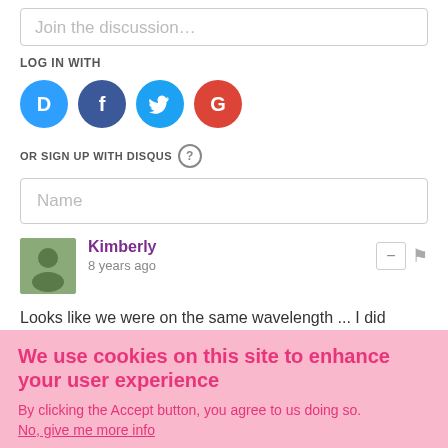Join the discussion…
LOG IN WITH
[Figure (illustration): Four social login icons: Disqus (blue circle with D), Facebook (dark blue circle with f), Twitter (light blue circle with bird), Google (red circle with G)]
OR SIGN UP WITH DISQUS ?
Name
Kimberly
8 years ago
Looks like we were on the same wavelength ... I did olives and feta in my bread too! Yours sounds so delish ... and I love that it's
We use cookies on this site to enhance your user experience
By clicking the Accept button, you agree to us doing so.
No, give me more info
OK, I agree
No, thanks